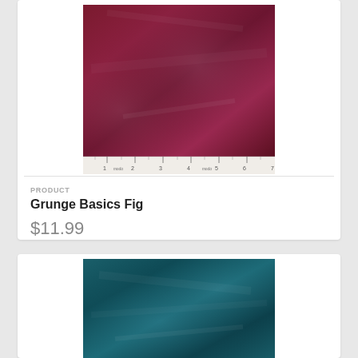[Figure (photo): Deep red/burgundy grunge-textured fabric swatch with a ruler at the bottom showing measurement markings and 'moda' branding]
PRODUCT
Grunge Basics Fig
$11.99
[Figure (photo): Teal/dark green grunge-textured fabric swatch, partially visible]